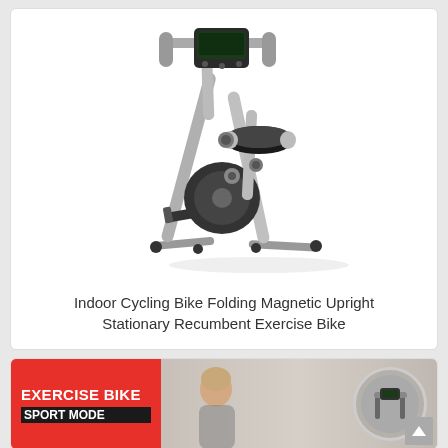[Figure (photo): A folding magnetic upright stationary exercise bike with silver/grey frame, X-shaped foldable frame, handlebar with monitor display, adjustable seat, pedals, and rubber feet caps. Shown on white background.]
Indoor Cycling Bike Folding Magnetic Upright Stationary Recumbent Exercise Bike
[Figure (photo): Bottom card showing an exercise bike advertisement. Left: red label with 'EXERCISE BIKE SPORT MODE' text in white. Center: photo of woman in sportswear using the bike. Right: circular inset showing handlebar with mounted phone/monitor.]